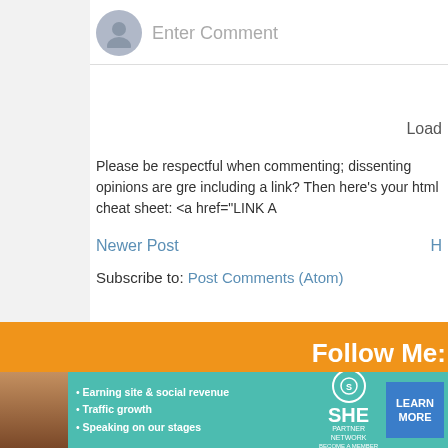Enter Comment
Load
Please be respectful when commenting; dissenting opinions are gre including a link? Then here's your html cheat sheet: <a href="LINK A
Newer Post
H
Subscribe to: Post Comments (Atom)
Follow Me:
X
[Figure (screenshot): SHE Partner Network advertisement banner with teal/green background, showing a woman, bullet points about Earning site & social revenue, Traffic growth, Speaking on our stages, SHE logo, and a LEARN MORE button]